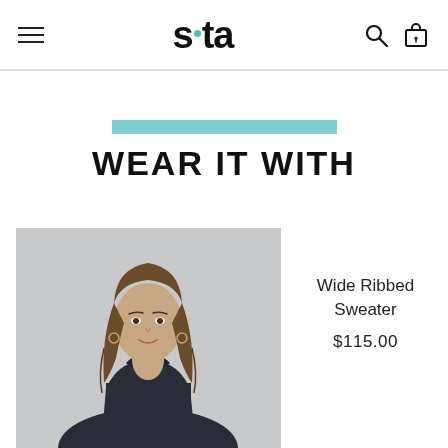s:ta — navigation header with hamburger menu, logo, search and bag icons
WEAR IT WITH
[Figure (photo): Fashion model wearing a dark navy sleeveless cowl-neck top, with long brown hair, photographed from the waist up against a light gray background.]
Wide Ribbed Sweater
$115.00